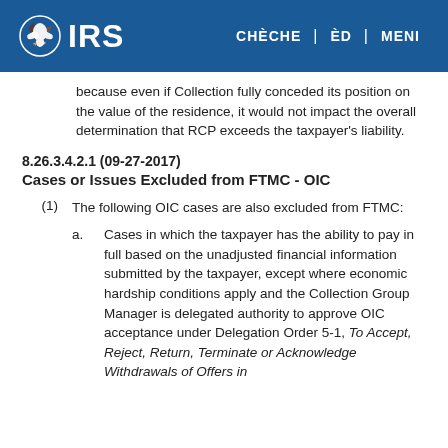IRS | CHÈCHE | ÈD | MENI
because even if Collection fully conceded its position on the value of the residence, it would not impact the overall determination that RCP exceeds the taxpayer's liability.
8.26.3.4.2.1 (09-27-2017)
Cases or Issues Excluded from FTMC - OIC
(1) The following OIC cases are also excluded from FTMC:
a. Cases in which the taxpayer has the ability to pay in full based on the unadjusted financial information submitted by the taxpayer, except where economic hardship conditions apply and the Collection Group Manager is delegated authority to approve OIC acceptance under Delegation Order 5-1, To Accept, Reject, Return, Terminate or Acknowledge Withdrawals of Offers in